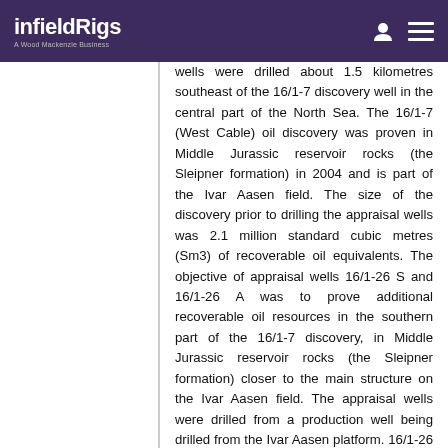infieldRigs — A Wood Mackenzie Business
wells were drilled about 1.5 kilometres southeast of the 16/1-7 discovery well in the central part of the North Sea. The 16/1-7 (West Cable) oil discovery was proven in Middle Jurassic reservoir rocks (the Sleipner formation) in 2004 and is part of the Ivar Aasen field. The size of the discovery prior to drilling the appraisal wells was 2.1 million standard cubic metres (Sm3) of recoverable oil equivalents. The objective of appraisal wells 16/1-26 S and 16/1-26 A was to prove additional recoverable oil resources in the southern part of the 16/1-7 discovery, in Middle Jurassic reservoir rocks (the Sleipner formation) closer to the main structure on the Ivar Aasen field. The appraisal wells were drilled from a production well being drilled from the Ivar Aasen platform. 16/1-26 S encountered a gas/oil column of about 25 metres in Middle Jurassic reservoir rocks (the Hugin formation), of which 15 metres were sandstone of moderate to good reservoir quality. The oil/water contact was not encountered, but was estimated